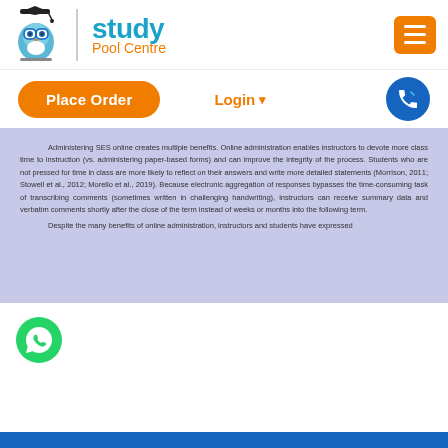[Figure (logo): Study Pool Centre logo with owl mascot wearing graduation cap, blue and orange branding]
[Figure (other): Orange hamburger menu button in top right corner]
[Figure (other): Orange rounded Place Order button]
Login ▾
[Figure (other): Blue circular phone/call-back icon button]
Administering SES online creates multiple benefits. Online administration enables instructors to devote more class time to instruction (vs. administering paper-based forms) and can improve the integrity of the process. Students who are not pressed for time in class are more likely to reflect on their answers and write more detailed statements (Morrison, 2011; Stowell et al., 2012; Morello et al., 2019). Because electronic aggregation of responses bypasses the time-consuming task of transcribing comments (sometimes written in challenging handwriting), instructors can receive summary data and verbatim comments shortly after the close of the term instead of weeks or months into the following term.
Despite the many benefits of online administration, instructors and students have expressed
[Figure (logo): Green WhatsApp icon in bottom left]